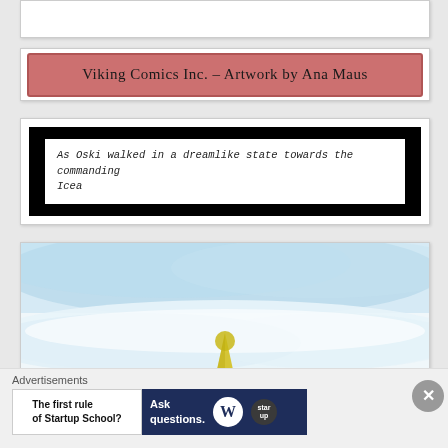[Figure (other): Partially visible white content box at top of page, cut off]
Viking Comics Inc. – Artwork by Ana Maus
As Oski walked in a dreamlike state towards the commanding Icea
[Figure (illustration): Watercolor illustration showing a snowy landscape with light blue sky and a small yellow figure (character) in the center of a white snowy field]
Advertisements
The first rule of Startup School?
Ask questions.